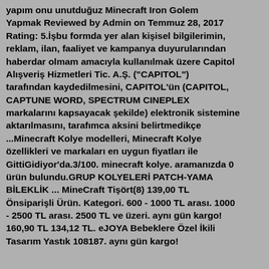yapım onu unutduğuz Minecraft Iron Golem Yapmak Reviewed by Admin on Temmuz 28, 2017 Rating: 5.İşbu formda yer alan kişisel bilgilerimin, reklam, ilan, faaliyet ve kampanya duyurularından haberdar olmam amacıyla kullanılmak üzere Capitol Alışveriş Hizmetleri Tic. A.Ş. ("CAPITOL") tarafından kaydedilmesini, CAPITOL'ün (CAPITOL, CAPTUNE WORD, SPECTRUM CINEPLEX markalarını kapsayacak şekilde) elektronik sistemine aktarılmasını, tarafımca aksini belirtmedikçe ...Minecraft Kolye modelleri, Minecraft Kolye özellikleri ve markaları en uygun fiyatları ile GittiGidiyor'da.3/100. minecraft kolye. aramanızda 0 ürün bulundu.GRUP KOLYELERİ PATCH-YAMA BİLEKLİK ... MineCraft Tişört(8) 139,00 TL Önsiparişli Ürün. Kategori. 600 - 1000 TL arası. 1000 - 2500 TL arası. 2500 TL ve üzeri. aynı gün kargo! 160,90 TL 134,12 TL. eJOYA Bebeklere Özel İkili Tasarım Yastık 108187. aynı gün kargo!